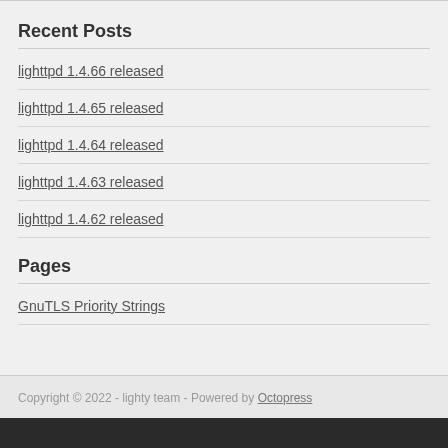Recent Posts
lighttpd 1.4.66 released
lighttpd 1.4.65 released
lighttpd 1.4.64 released
lighttpd 1.4.63 released
lighttpd 1.4.62 released
Pages
GnuTLS Priority Strings
Copyright © 2022 - lighty team - Powered by Octopress